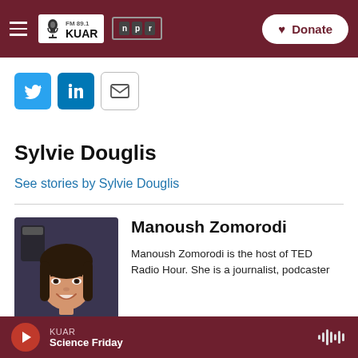FM 89.1 KUAR | NPR | Donate
[Figure (other): Social share buttons: Twitter (blue), LinkedIn (blue), Email (outlined)]
Sylvie Douglis
See stories by Sylvie Douglis
[Figure (photo): Photo of Manoush Zomorodi, a woman with dark hair smiling, wearing a purple jacket]
Manoush Zomorodi
Manoush Zomorodi is the host of TED Radio Hour. She is a journalist, podcaster
KUAR — Science Friday